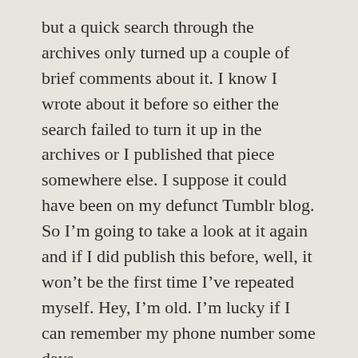but a quick search through the archives only turned up a couple of brief comments about it. I know I wrote about it before so either the search failed to turn it up in the archives or I published that piece somewhere else. I suppose it could have been on my defunct Tumblr blog. So I'm going to take a look at it again and if I did publish this before, well, it won't be the first time I've repeated myself. Hey, I'm old. I'm lucky if I can remember my phone number some days.
Now, the news...
Back in mid summer a2 Milk (the company) got itself a new CEO, Jayne Hrdlicka, brought over